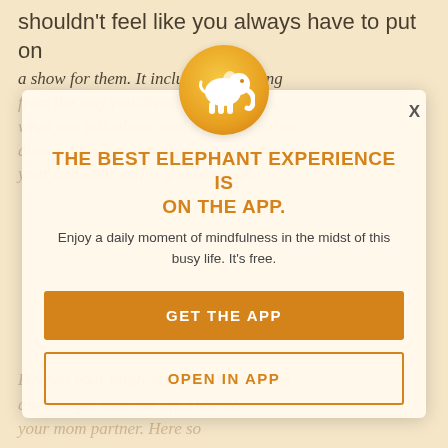shouldn't feel like you always have to put on a show for them. It includes everything from the way you dress, where you go, what you talk about, and what you eat at dinner. This is a sign that you don't feel like your authentic self is good enough.
[Figure (logo): Orange circular icon with white elephant silhouette, representing the Elephant Journal app logo]
THE BEST ELEPHANT EXPERIENCE IS ON THE APP.
Enjoy a daily moment of mindfulness in the midst of this busy life. It's free.
GET THE APP
OPEN IN APP